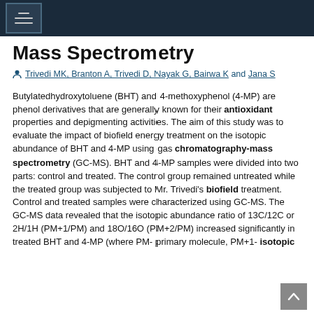Mass Spectrometry
Mass Spectrometry
Trivedi MK, Branton A, Trivedi D, Nayak G, Bairwa K and Jana S
Butylatedhydroxytoluene (BHT) and 4-methoxyphenol (4-MP) are phenol derivatives that are generally known for their antioxidant properties and depigmenting activities. The aim of this study was to evaluate the impact of biofield energy treatment on the isotopic abundance of BHT and 4-MP using gas chromatography-mass spectrometry (GC-MS). BHT and 4-MP samples were divided into two parts: control and treated. The control group remained untreated while the treated group was subjected to Mr. Trivedi's biofield treatment. Control and treated samples were characterized using GC-MS. The GC-MS data revealed that the isotopic abundance ratio of 13C/12C or 2H/1H (PM+1/PM) and 18O/16O (PM+2/PM) increased significantly in treated BHT and 4-MP (where PM- primary molecule, PM+1- isotopic